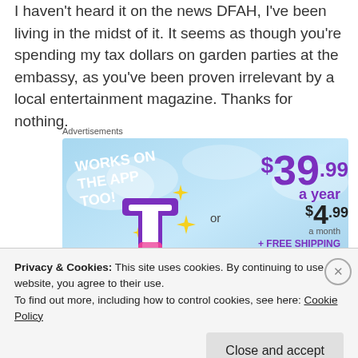I haven't heard it on the news DFAH, I've been living in the midst of it. It seems as though you're spending my tax dollars on garden parties at the embassy, as you've been proven irrelevant by a local entertainment magazine. Thanks for nothing.
Advertisements
[Figure (infographic): Advertisement banner: 'WORKS ON THE APP TOO!' with pricing $39.99 a year or $4.99 a month + FREE SHIPPING, featuring a stylized 't' logo with sparkle stars on a blue sky background.]
Privacy & Cookies: This site uses cookies. By continuing to use this website, you agree to their use.
To find out more, including how to control cookies, see here: Cookie Policy
Close and accept